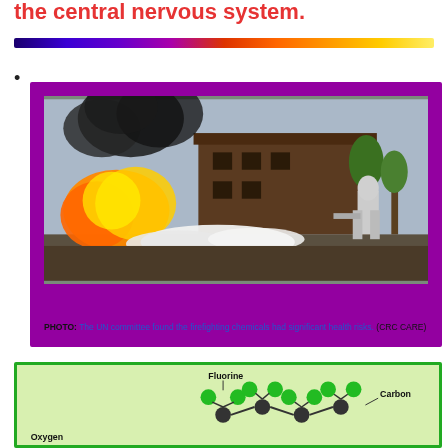the central nervous system.
•
[Figure (photo): A firefighter in a protective reflective suit sprays white foam onto a large fire with orange flames and black smoke, in front of a wooden industrial building with trees in the background.]
PHOTO: The UN committee found the firefighting chemicals had significant health risks. (CRC CARE)
[Figure (illustration): A molecular diagram showing a PFAS/PFOS type molecule with labeled atoms: Fluorine (green spheres), Carbon (dark spheres), and Oxygen, connected by bonds.]